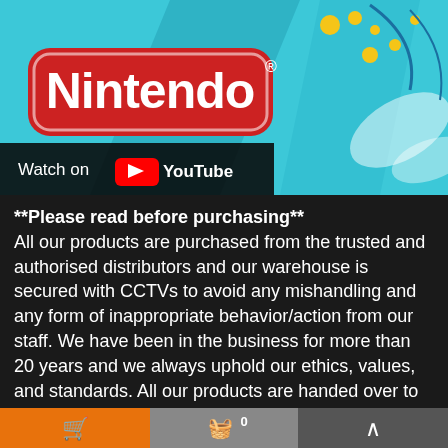[Figure (screenshot): Nintendo logo on red badge with YouTube 'Watch on' overlay, set against a teal/blue decorative background]
**Please read before purchasing**
All our products are purchased from the trusted and authorised distributors and our warehouse is secured with CCTVs to avoid any mishandling and any form of inappropriate behavior/action from our staff. We have been in the business for more than 20 years and we always uphold our ethics, values, and standards. All our products are handed over to our customers in their original form since we received them from the supplier. New and sealed. We will not repackage or
[Figure (screenshot): Bottom navigation bar with orange cart button, gray basket/counter button, and dark up-arrow button]